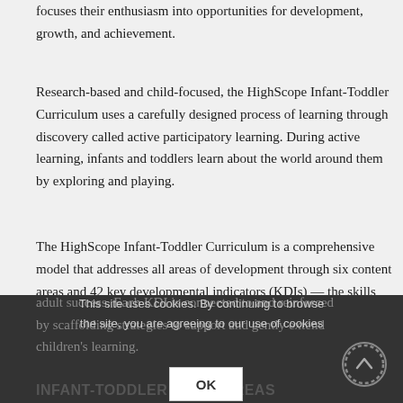focuses their enthusiasm into opportunities for development, growth, and achievement.
Research-based and child-focused, the HighScope Infant-Toddler Curriculum uses a carefully designed process of learning through discovery called active participatory learning. During active learning, infants and toddlers learn about the world around them by exploring and playing.
The HighScope Infant-Toddler Curriculum is a comprehensive model that addresses all areas of development through six content areas and 42 key developmental indicators (KDIs) — the skills and behaviors at each stage of development that pave the way for school and adult success. Each KDI is connected to and reinforced by scaffolding strategies to support and gently extend children's learning.
This site uses cookies. By continuing to browse the site, you are agreeing to our use of cookies
INFANT-TODDLER CONTENT AREAS